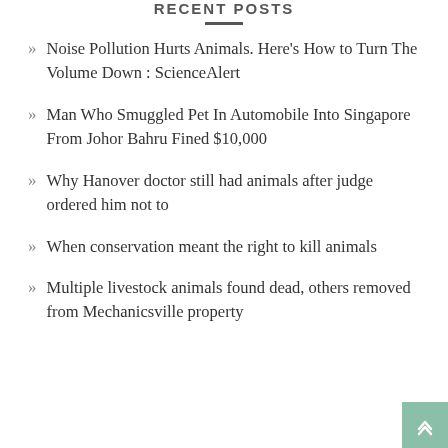RECENT POSTS
Noise Pollution Hurts Animals. Here’s How to Turn The Volume Down : ScienceAlert
Man Who Smuggled Pet In Automobile Into Singapore From Johor Bahru Fined $10,000
Why Hanover doctor still had animals after judge ordered him not to
When conservation meant the right to kill animals
Multiple livestock animals found dead, others removed from Mechanicsville property